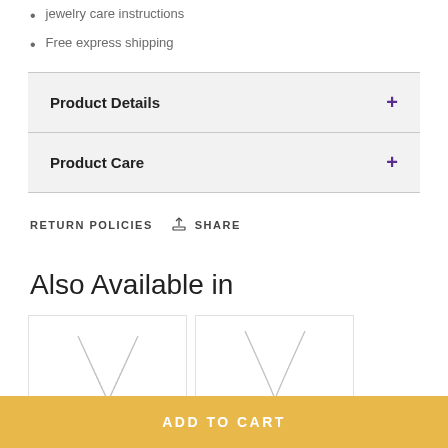jewelry care instructions
Free express shipping
Product Details
Product Care
RETURN POLICIES   SHARE
Also Available in
[Figure (photo): Two necklace product thumbnail images shown side by side]
ADD TO CART